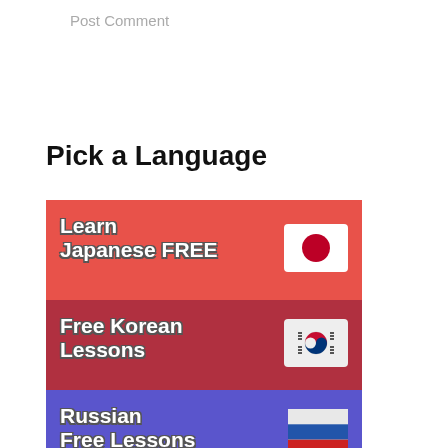Post Comment
Pick a Language
[Figure (infographic): Learn Japanese FREE banner with Japanese flag icon, red background]
[Figure (infographic): Free Korean Lessons banner with South Korean flag icon, dark red background]
[Figure (infographic): Russian Free Lessons banner with Russian flag icon, blue/purple background]
[Figure (infographic): Hebrew Online banner with partial flag icon, light blue background, partially visible]